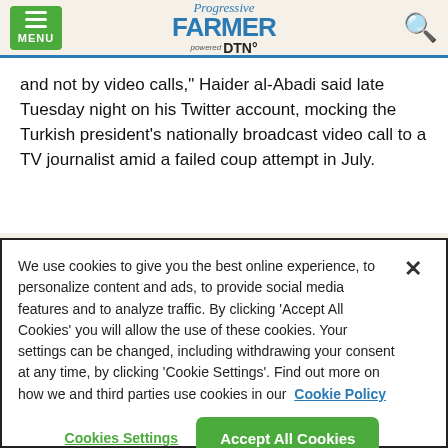Progressive Farmer powered by DTN — MENU / Search
and not by video calls," Haider al-Abadi said late Tuesday night on his Twitter account, mocking the Turkish president's nationally broadcast video call to a TV journalist amid a failed coup attempt in July.
We use cookies to give you the best online experience, to personalize content and ads, to provide social media features and to analyze traffic. By clicking 'Accept All Cookies' you will allow the use of these cookies. Your settings can be changed, including withdrawing your consent at any time, by clicking 'Cookie Settings'. Find out more on how we and third parties use cookies in our Cookie Policy